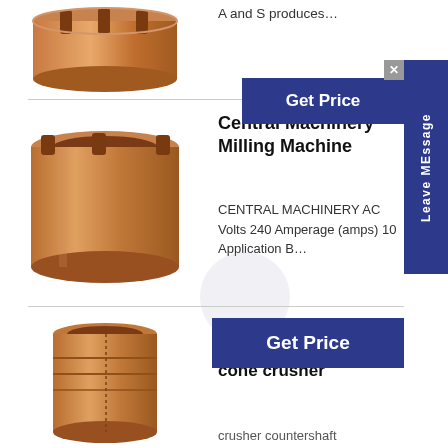A and S produces…
[Figure (photo): Copper/brass cylindrical machine part with slots at top — bushing or sleeve]
[Figure (other): Blue 'Get Price' button with 'Leave MEssage' side tab]
[Figure (photo): Copper/brass cylindrical milling machine bushing part]
Central Machinery Milling Machine
CENTRAL MACHINERY AC Volts 240 Amperage (amps) 10 Application B…
[Figure (other): Blue 'Get Price' button]
[Figure (photo): Copper/brass cylindrical shaft part for cone crusher]
HP300 MAIN SHAFT spare brass parts for cone crusher
crusher countershaft